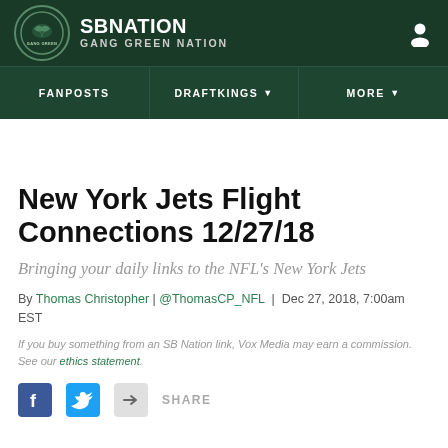SB NATION | GANG GREEN NATION
FANPOSTS | DRAFTKINGS | MORE
New York Jets Flight Connections 12/27/18
Bringing your daily links to the NFL's New York Jets
By Thomas Christopher | @ThomasCP_NFL | Dec 27, 2018, 7:00am EST
If you buy something from an SB Nation link, Vox Media may earn a commission. See our ethics statement.
[Figure (other): Social share icons: Facebook, Twitter, share button with SHARE label]